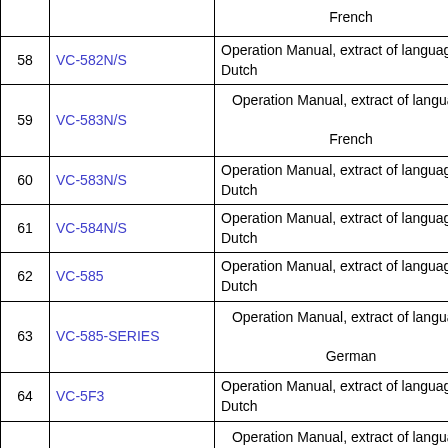| # | Model | Description |
| --- | --- | --- |
|  |  | French |
| 58 | VC-582N/S | Operation Manual, extract of language Dutch |
| 59 | VC-583N/S | Operation Manual, extract of language

French |
| 60 | VC-583N/S | Operation Manual, extract of language Dutch |
| 61 | VC-584N/S | Operation Manual, extract of language Dutch |
| 62 | VC-585 | Operation Manual, extract of language Dutch |
| 63 | VC-585-SERIES | Operation Manual, extract of language

German |
| 64 | VC-5F3 | Operation Manual, extract of language Dutch |
| 65 | VC-5F3NS/ND/SS/SD | Operation Manual, extract of language

German |
| 66 | VC-5F3NS/ND/SS/SD | Operation Manual, extract of language

English |
| 67 | VC-6300G/S/N | Operation Manual, German, English, French, Swedish, Italian |